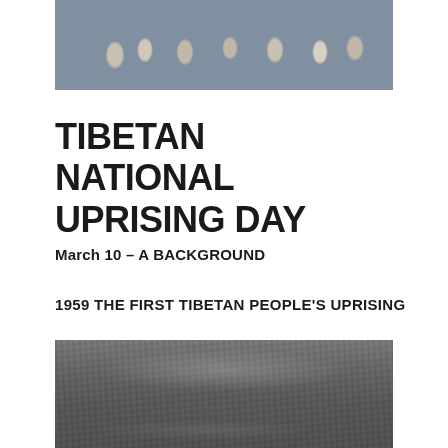[Figure (photo): Color photograph of Tibetan protesters holding signs and the Tibetan flag, wearing masks]
TIBETAN NATIONAL UPRISING DAY
March 10 – A BACKGROUND
1959 THE FIRST TIBETAN PEOPLE'S UPRISING
[Figure (photo): Black and white historical photograph of a large dense crowd during the 1959 Tibetan uprising]